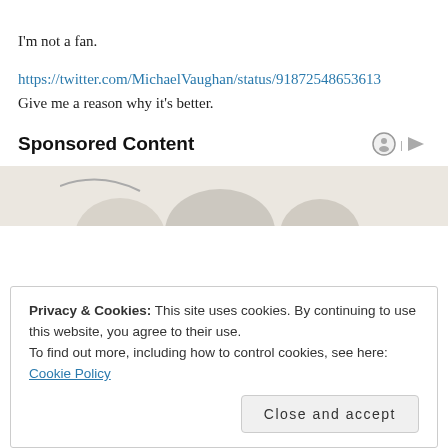I'm not a fan.
https://twitter.com/MichaelVaughan/status/91872548653613873 Give me a reason why it's better.
Sponsored Content
[Figure (photo): Partial product images visible at bottom of sponsored content area]
Privacy & Cookies: This site uses cookies. By continuing to use this website, you agree to their use.
To find out more, including how to control cookies, see here: Cookie Policy
Close and accept